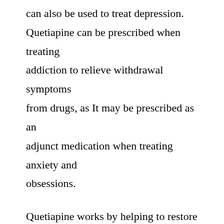can also be used to treat depression. Quetiapine can be prescribed when treating addiction to relieve withdrawal symptoms from drugs, as It may be prescribed as an adjunct medication when treating anxiety and obsessions.
Quetiapine works by helping to restore the balance of certain natural chemicals in the brain. This reduces hallucinations and improves focus. It helps you think more clearly and positively about yourself, makes you less nervous, and enables you to take a more active